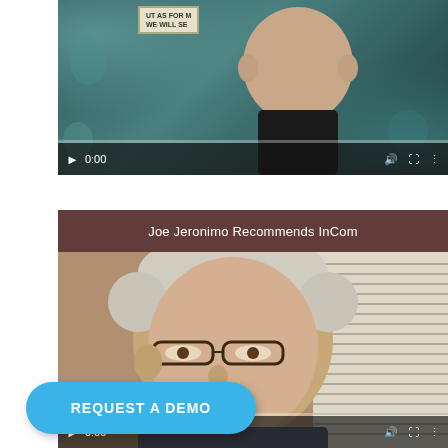[Figure (screenshot): Video player thumbnail showing a man in dark clothing in front of a floral background with a sign reading 'AS FOR ME WE WILL SE...' The player shows 0:00 timestamp with playback controls.]
[Figure (screenshot): Video player thumbnail titled 'Joe Jeronimo Recommends InCom' showing an older man with glasses and gray hair. The player shows 0:00 timestamp with playback controls.]
REQUEST A DEMO